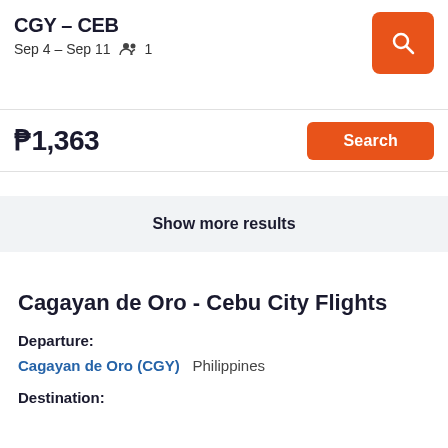CGY – CEB
Sep 4 – Sep 11   👥 1
₱1,363
Search
Show more results
Cagayan de Oro - Cebu City Flights
Departure:
Cagayan de Oro (CGY)   Philippines
Destination: